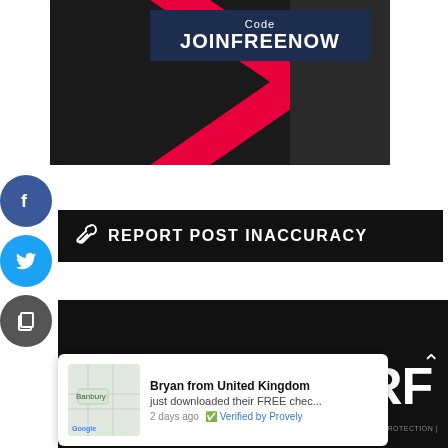[Figure (photo): Advertisement banner with red chevron/arrow shape on dark background, showing promotional code JOINFREENOW in a dark navy box]
[Figure (infographic): Black banner with white bold text REPORT POST INACCURACY and wrench icon]
[Figure (infographic): Life in Düsseldorf banner in black with large white bold text and social media icons (Facebook, Twitter, Instagram, YouTube)]
[Figure (screenshot): Provely social proof popup showing Bryan from United Kingdom just downloaded their FREE chec... 2 days ago, Verified by Provely, with Google map thumbnail showing Banbury]